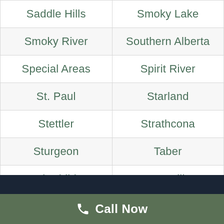| Saddle Hills | Smoky Lake |
| Smoky River | Southern Alberta |
| Special Areas | Spirit River |
| St. Paul | Starland |
| Stettler | Strathcona |
| Sturgeon | Taber |
| Thorhild | Two Hills |
| Vermilion River | Vulcan |
| Wainwright | Warner |
| Waterton | Westlock |
| Wetaskiwin | Wheatland |
| Willow Creek | Wood Buffalo |
| Woodlands | Yellowhead |
Call Now